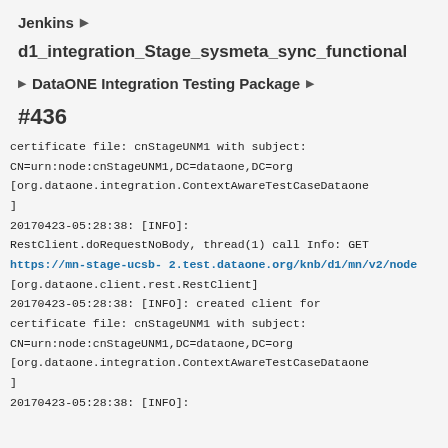Jenkins ▶
d1_integration_Stage_sysmeta_sync_functional
▶ DataONE Integration Testing Package ▶
#436
certificate file: cnStageUNM1 with subject:
CN=urn:node:cnStageUNM1,DC=dataone,DC=org
[org.dataone.integration.ContextAwareTestCaseDataone
]
20170423-05:28:38: [INFO]:
RestClient.doRequestNoBody, thread(1) call Info: GET
https://mn-stage-ucsb-2.test.dataone.org/knb/d1/mn/v2/node
[org.dataone.client.rest.RestClient]
20170423-05:28:38: [INFO]: created client for
certificate file: cnStageUNM1 with subject:
CN=urn:node:cnStageUNM1,DC=dataone,DC=org
[org.dataone.integration.ContextAwareTestCaseDataone
]
20170423-05:28:38: [INFO]: